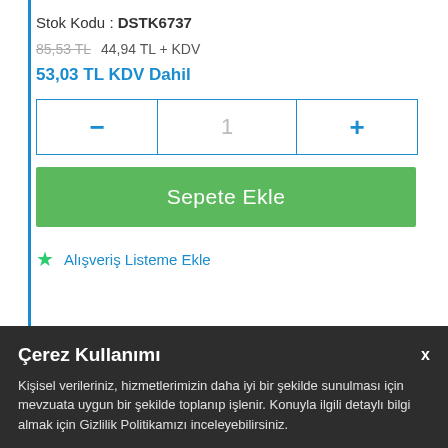Stok Kodu : DSTK6737
85,53 TL  44,94 TL + KDV
53,03 TL KDV Dahil
- 1 +
Sepete Ekle
★ Alışveriş Listeme Ekle
Çerez Kullanımı
Kişisel verileriniz, hizmetlerimizin daha iyi bir şekilde sunulması için mevzuata uygun bir şekilde toplanıp işlenir. Konuyla ilgili detaylı bilgi almak için Gizlilik Politikamızı inceleyebilirsiniz.